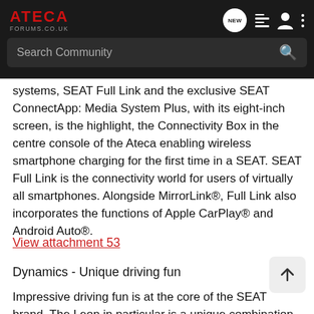ATECA FORUMS.CO.UK
systems, SEAT Full Link and the exclusive SEAT ConnectApp: Media System Plus, with its eight-inch screen, is the highlight, the Connectivity Box in the centre console of the Ateca enabling wireless smartphone charging for the first time in a SEAT. SEAT Full Link is the connectivity world for users of virtually all smartphones. Alongside MirrorLink®, Full Link also incorporates the functions of Apple CarPlay® and Android Auto®.
View attachment 53
Dynamics - Unique driving fun
Impressive driving fun is at the core of the SEAT brand. The Leon in particular is a unique combination of precision and